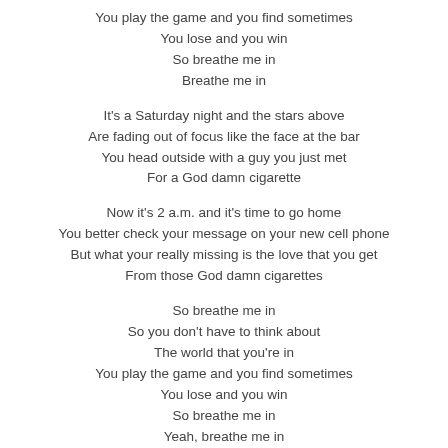You play the game and you find sometimes
You lose and you win
So breathe me in
Breathe me in
It's a Saturday night and the stars above
Are fading out of focus like the face at the bar
You head outside with a guy you just met
For a God damn cigarette
Now it's 2 a.m. and it's time to go home
You better check your message on your new cell phone
But what your really missing is the love that you get
From those God damn cigarettes
So breathe me in
So you don't have to think about
The world that you're in
You play the game and you find sometimes
You lose and you win
So breathe me in
Yeah, breathe me in
Oh, breathe me in
Breathe me in